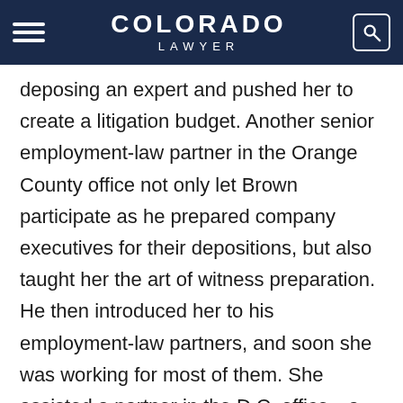COLORADO LAWYER
deposing an expert and pushed her to create a litigation budget. Another senior employment-law partner in the Orange County office not only let Brown participate as he prepared company executives for their depositions, but also taught her the art of witness preparation. He then introduced her to his employment-law partners, and soon she was working for most of them. She assisted a partner in the D.C. office—a former Solicitor of Labor—with a US Supreme Court case regarding the Americans with Disabilities Act. Just before oral